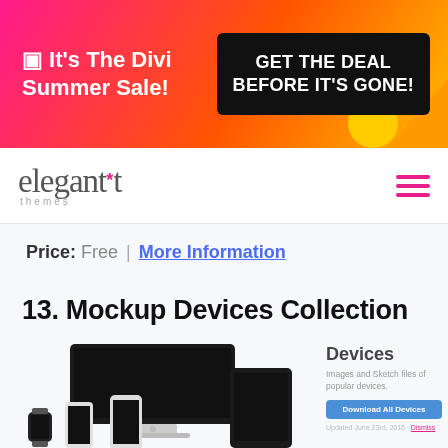[Figure (infographic): Pink/magenta sale banner with text 'It's The Divi Summer Sale!' on left and black box 'GET THE DEAL BEFORE IT'S GONE!' on right, colorful diagonal decoration.]
elegant themes logo and hamburger menu
Price: Free | More Information
13. Mockup Devices Collection
[Figure (screenshot): Mockup of multiple Apple devices (iMac, iPad, iPhone, Apple Watch) displayed together showing dark screens.]
Devices
Images and Sketch files of popular devices.
Download All Devices
Updated June 23rd, 2016 · Dismiss